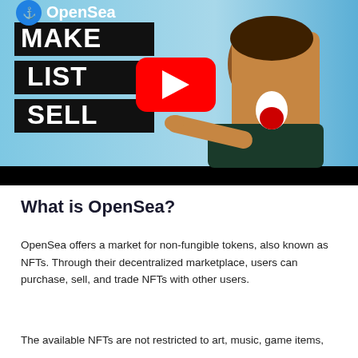[Figure (screenshot): YouTube video thumbnail for OpenSea tutorial showing text MAKE LIST SELL on black background blocks, a YouTube play button, OpenSea logo and branding, and a man pointing at the screen against a blue background]
What is OpenSea?
OpenSea offers a market for non-fungible tokens, also known as NFTs. Through their decentralized marketplace, users can purchase, sell, and trade NFTs with other users.
The available NFTs are not restricted to art, music, game items,